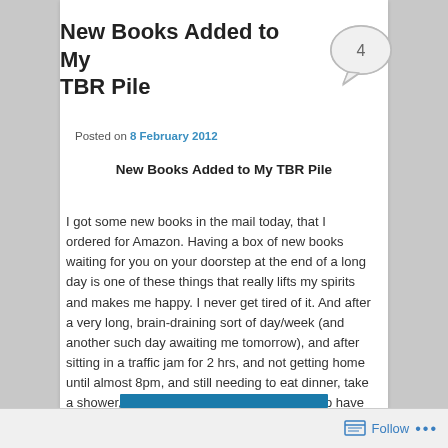New Books Added to My TBR Pile
Posted on 8 February 2012
New Books Added to My TBR Pile
I got some new books in the mail today, that I ordered for Amazon.  Having a box of new books waiting for you on your doorstep at the end of a long day is one of these things that really lifts my spirits and makes me happy.  I never get tired of it.  And after a very long, brain-draining sort of day/week (and another such day awaiting me tomorrow), and after sitting in a traffic jam for 2 hrs, and not getting home until almost 8pm, and still needing to eat dinner, take a shower, etc etc etc…, it was REALLY nice to have these books waiting for me.  Here's what I got:
Follow ...